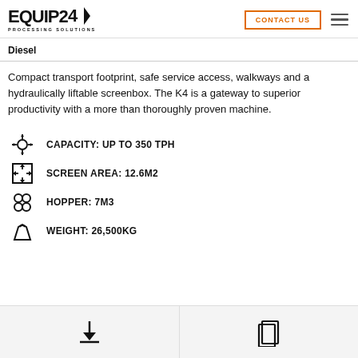EQUIP24 PROCESSING SOLUTIONS | CONTACT US
Diesel
Compact transport footprint, safe service access, walkways and a hydraulically liftable screenbox. The K4 is a gateway to superior productivity with a more than thoroughly proven machine.
CAPACITY: UP TO 350 TPH
SCREEN AREA: 12.6M2
HOPPER: 7M3
WEIGHT: 26,500KG
Download | Brochure